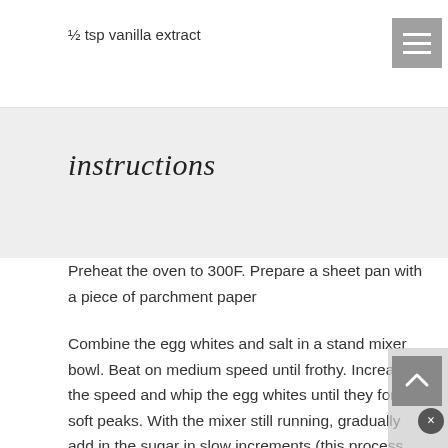½ tsp vanilla extract
instructions
Preheat the oven to 300F. Prepare a sheet pan with a piece of parchment paper
Combine the egg whites and salt in a stand mixer bowl. Beat on medium speed until frothy. Increase the speed and whip the egg whites until they form soft peaks. With the mixer still running, gradually add in the sugar in slow increments (this process should take about 5 minutes)
Once all of the sugar has been incorporated, continue to beat for another 2 minutes until the sugar is fully dissolved and the meringue is stiff and glossy